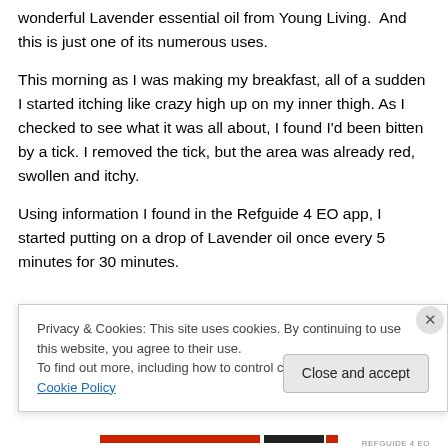wonderful Lavender essential oil from Young Living.  And this is just one of its numerous uses.
This morning as I was making my breakfast, all of a sudden I started itching like crazy high up on my inner thigh. As I checked to see what it was all about, I found I'd been bitten by a tick. I removed the tick, but the area was already red, swollen and itchy.
Using information I found in the Refguide 4 EO app, I started putting on a drop of Lavender oil once every 5 minutes for 30 minutes.
Privacy & Cookies: This site uses cookies. By continuing to use this website, you agree to their use.
To find out more, including how to control cookies, see here: Cookie Policy
Close and accept